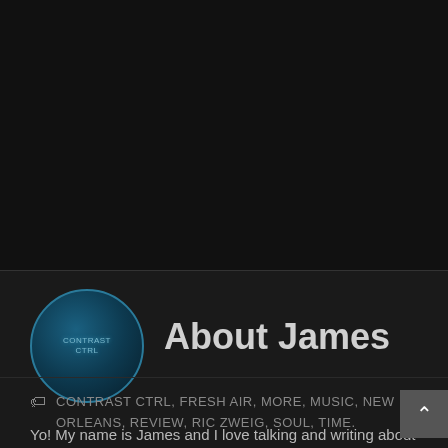[Figure (photo): Circular avatar/logo for Contrast Ctrl blog, dark blue tones with stylized text]
About James
Yo! My name is James and I love talking and writing about Music! I look for the positive things from the music I choose to write about. I don't apologize for this and hope you find music that Matters to you!
View all posts by James →
CONTRAST CTRL, FRESH AIR, MORE, MUSIC, NEW ORLEANS, REVIEW, RIC ZWEIG, SOUL, TIME.